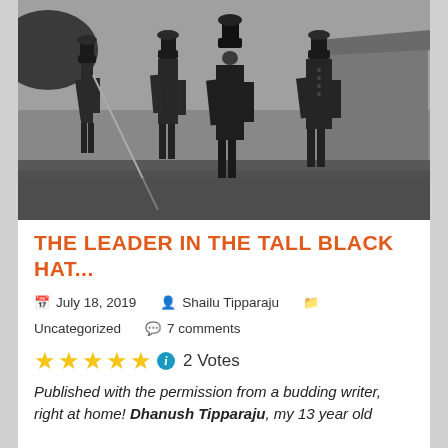[Figure (photo): Black and white historical photograph showing several men in military-style coats and tall hats standing outdoors near a tent]
THE LEADER IN THE TALL BLACK HAT...
July 18, 2019   Shailu Tipparaju   Uncategorized   7 comments
2 Votes
Published with the permission from a budding writer, right at home! Dhanush Tipparaju, my 13 year old